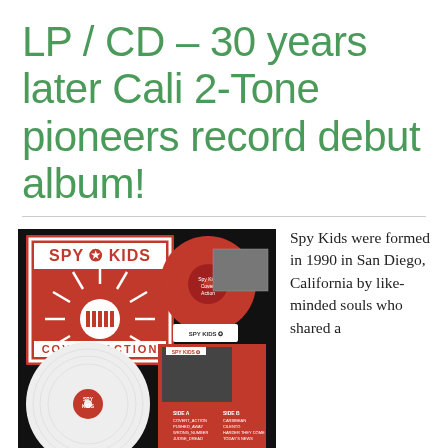LP / CD – 30 years later Cali 2-Tone pioneers record debut album!
[Figure (photo): Photo of Spy Kids 'Covert Action' album — red and white vinyl records, album cover with red and white graphic design showing 'SPY KIDS COVERT ACTION' text, inner sleeve with band photo and track listing.]
Spy Kids were formed in 1990 in San Diego, California by like-minded souls who shared a